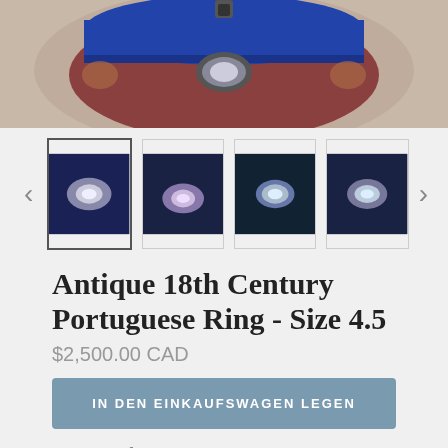[Figure (photo): Close-up photo of an antique Portuguese reliquary ring with blue and red enamel detail, silver and gold construction, seen from above.]
[Figure (photo): Four thumbnail images of the antique Portuguese ring from different angles, with navigation arrows on either side.]
Antique 18th Century Portuguese Ring - Size 4.5
$2,500.00 CAD
IN DEN EINKAUFSWAGEN LEGEN
A wonderful and rare Portuguese reliquary ring crafted in the 18th century from  silver and 18k gold.